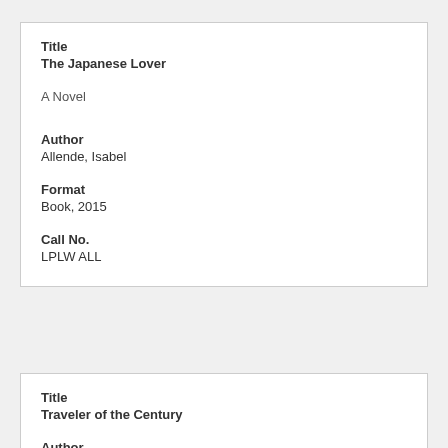Title
The Japanese Lover
A Novel
Author
Allende, Isabel
Format
Book, 2015
Call No.
LPLW ALL
Title
Traveler of the Century
Author
Neuman, Andrés